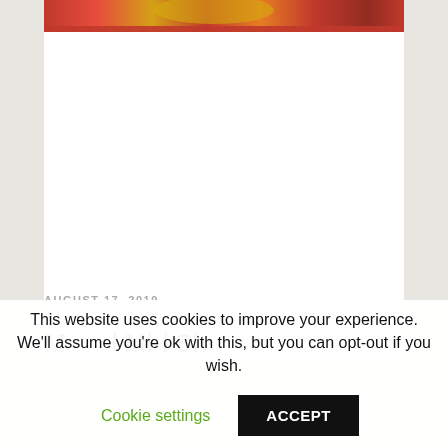[Figure (photo): Partial image showing a colorful food or object with red and yellow tones, visible as a strip at the top of the content card]
AUGUST 17, 2019
M... ...l Mi...l Sh...
This website uses cookies to improve your experience. We'll assume you're ok with this, but you can opt-out if you wish.
Cookie settings   ACCEPT